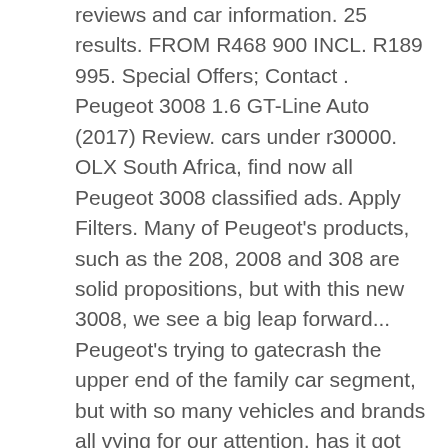reviews and car information. 25 results. FROM R468 900 INCL. R189 995. Special Offers; Contact . Peugeot 3008 1.6 GT-Line Auto (2017) Review. cars under r30000. OLX South Africa, find now all Peugeot 3008 classified ads. Apply Filters. Many of Peugeot's products, such as the 208, 2008 and 308 are solid propositions, but with this new 3008, we see a big leap forward... Peugeot's trying to gatecrash the upper end of the family car segment, but with so many vehicles and brands all vying for our attention, has it got enough going for it? With sibling company Citroen departing the South African market (at least temporarily), PSA is backing the rejuvenated Peugeot brand to further the French firm's interests in the local market. All-New Peugeot 3008 SUV wins Family Car of the Year Award; Beeld Children's Fund announces winner; 3008 wins Women's World COTY; WorldRX runner-up honours for Team Peugeot